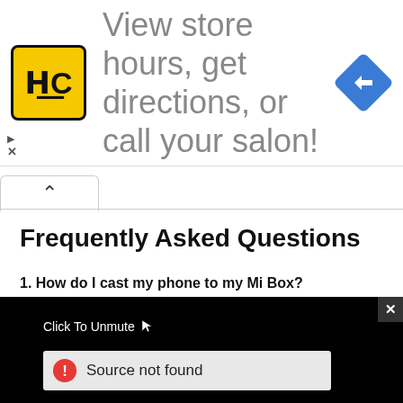[Figure (screenshot): Advertisement banner with HC salon logo on yellow background and text 'View store hours, get directions, or call your salon!' with a blue navigation arrow icon on the right]
Frequently Asked Questions
1. How do I cast my phone to my Mi Box?
[Figure (screenshot): Video player overlay on black background with 'Click To Unmute' text and cursor icon, and a 'Source not found' error message in a light grey box with red warning icon]